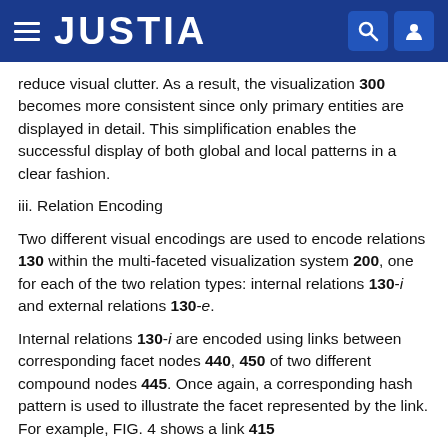JUSTIA
reduce visual clutter. As a result, the visualization 300 becomes more consistent since only primary entities are displayed in detail. This simplification enables the successful display of both global and local patterns in a clear fashion.
iii. Relation Encoding
Two different visual encodings are used to encode relations 130 within the multi-faceted visualization system 200, one for each of the two relation types: internal relations 130-i and external relations 130-e.
Internal relations 130-i are encoded using links between corresponding facet nodes 440, 450 of two different compound nodes 445. Once again, a corresponding hash pattern is used to illustrate the facet represented by the link. For example, FIG. 4 shows a link 415